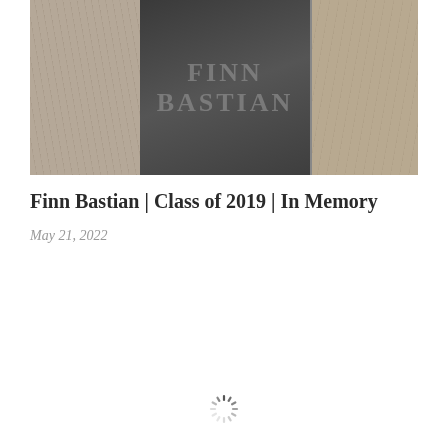[Figure (photo): A photograph showing a dark granite gravestone with 'FINN BASTIAN' scratched or written on it, flanked by earthy/rocky ground on both sides.]
Finn Bastian | Class of 2019 | In Memory
May 21, 2022